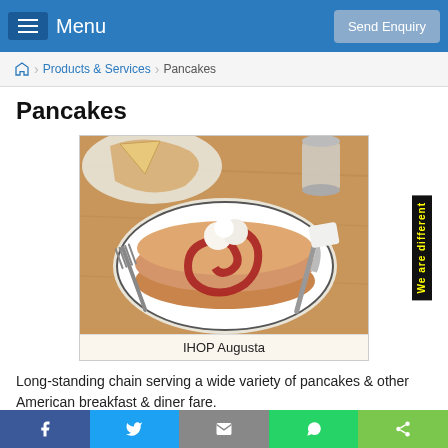Menu | Send Enquiry
Products & Services > Pancakes
Pancakes
[Figure (photo): Pancakes with strawberry sauce and whipped cream on a plate, with a fork and knife, on a wooden table. Caption: IHOP Augusta]
IHOP Augusta
Long-standing chain serving a wide variety of pancakes & other American breakfast & diner fare.
Facebook | Twitter | Email | WhatsApp | Share